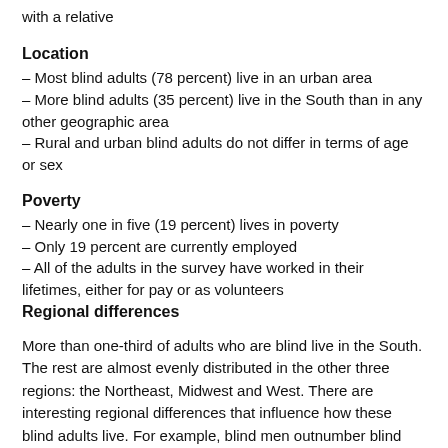with a relative
Location
– Most blind adults (78 percent) live in an urban area
– More blind adults (35 percent) live in the South than in any other geographic area
– Rural and urban blind adults do not differ in terms of age or sex
Poverty
– Nearly one in five (19 percent) lives in poverty
– Only 19 percent are currently employed
– All of the adults in the survey have worked in their lifetimes, either for pay or as volunteers
Regional differences
More than one-third of adults who are blind live in the South. The rest are almost evenly distributed in the other three regions: the Northeast, Midwest and West. There are interesting regional differences that influence how these blind adults live. For example, blind men outnumber blind women in the South, while the is reversed in the other three regions. Blind adults are olde Northwest, more likely to be married in the South, less edu the South, and more educated in the West. Blind adults in the